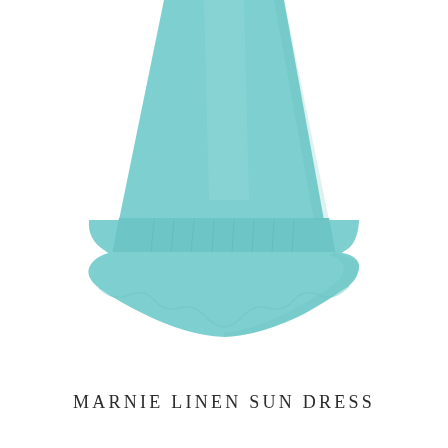[Figure (photo): A light teal/mint colored linen sun dress with gathered ruffle hem, photographed from the waist down against a white background. The dress is sleeveless and flows outward toward a ruffled bottom hem.]
MARNIE LINEN SUN DRESS